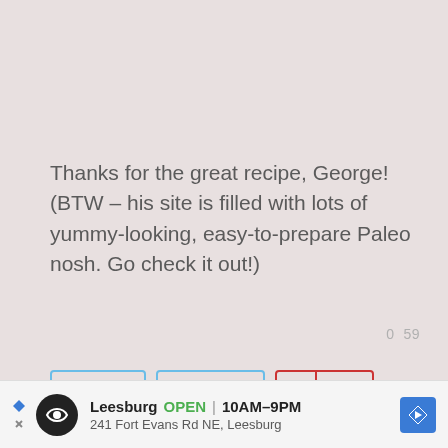Thanks for the great recipe, George! (BTW – his site is filled with lots of yummy-looking, easy-to-prepare Paleo nosh. Go check it out!)
0  59
[Figure (infographic): Social share buttons: Facebook Share button (teal border), Twitter Tweet button (teal border), Pinterest button with 9.7k count (red border)]
[Figure (infographic): Advertisement bar: Leesburg OPEN 10AM-9PM, 241 Fort Evans Rd NE, Leesburg with navigation arrows and diamond icon]